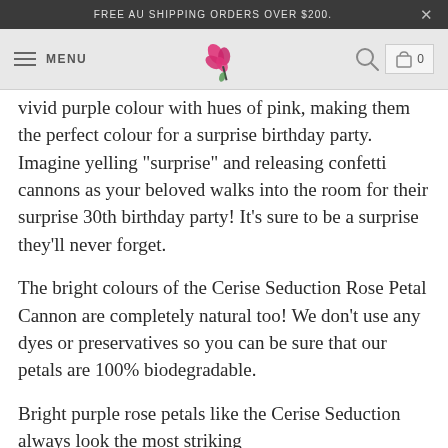FREE AU SHIPPING ORDERS OVER $200.
MENU
vivid purple colour with hues of pink, making them the perfect colour for a surprise birthday party. Imagine yelling "surprise" and releasing confetti cannons as your beloved walks into the room for their surprise 30th birthday party! It's sure to be a surprise they'll never forget.
The bright colours of the Cerise Seduction Rose Petal Cannon are completely natural too! We don't use any dyes or preservatives so you can be sure that our petals are 100% biodegradable.
Bright purple rose petals like the Cerise Seduction always look the most striking